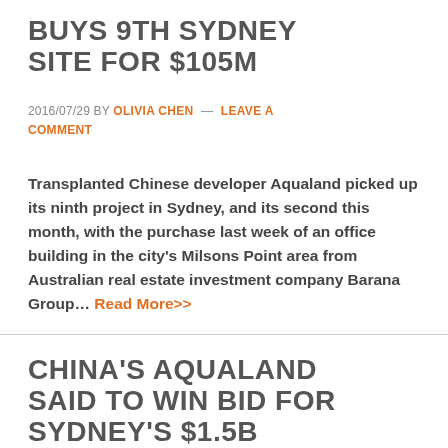BUYS 9TH SYDNEY SITE FOR $105M
2016/07/29 BY OLIVIA CHEN — LEAVE A COMMENT
Transplanted Chinese developer Aqualand picked up its ninth project in Sydney, and its second this month, with the purchase last week of an office building in the city's Milsons Point area from Australian real estate investment company Barana Group... Read More>>
CHINA'S AQUALAND SAID TO WIN BID FOR SYDNEY'S $1.5B CENTRAL